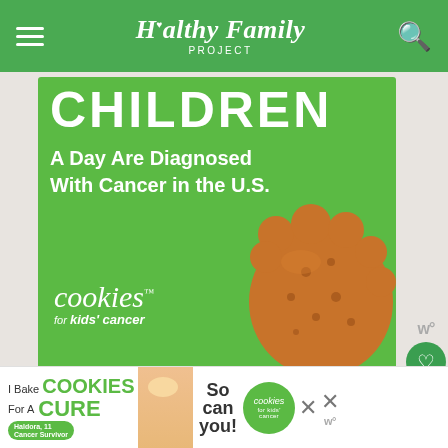Healthy Family PROJECT
[Figure (infographic): Green advertisement banner for Cookies for Kids Cancer: 'CHILDREN A Day Are Diagnosed With Cancer in the U.S.' with cookies brand logo and cookie image, 'Let's Get Baking' call to action]
Recommended
Best Lunchbox Pin... Recipes
[Figure (infographic): What's Next panel showing 'Summer Replay:...' with a colorful thumbnail]
[Figure (infographic): Bottom advertisement banner: 'I Bake COOKIES For A CURE' with Cookies for Kids Cancer branding, 'So can you!' text, person with baked goods, Haldora 11 Cancer Survivor badge]